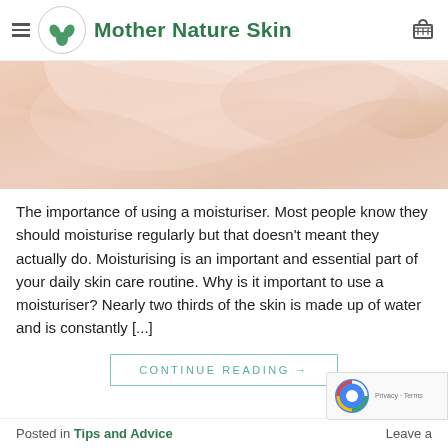Mother Nature Skin
[Figure (photo): Close-up photo of soft pink skin folds/texture]
The importance of using a moisturiser. Most people know they should moisturise regularly but that doesn't meant they actually do. Moisturising is an important and essential part of your daily skin care routine. Why is it important to use a moisturiser? Nearly two thirds of the skin is made up of water and is constantly [...]
CONTINUE READING →
Posted in Tips and Advice    Leave a